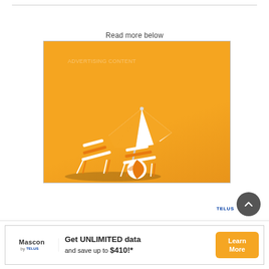Read more below
[Figure (illustration): Orange background advertisement image with a beach umbrella, two beach chairs, and a beach ball in the lower-left. A faint watermark text is visible at the top.]
[Figure (other): Mascon by TELUS advertisement banner: 'Get UNLIMITED data and save up to $410!*' with Learn More button]
Get UNLIMITED data and save up to $410!*
Learn More